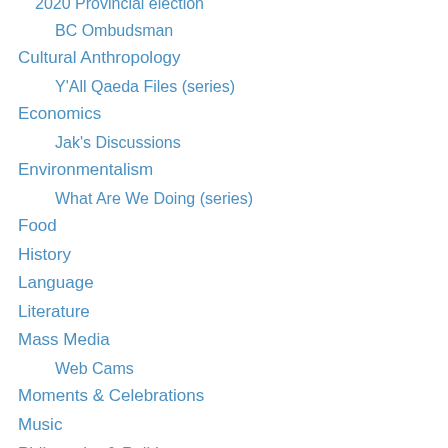2020 Provincial election
BC Ombudsman
Cultural Anthropology
Y'All Qaeda Files (series)
Economics
Jak's Discussions
Environmentalism
What Are We Doing (series)
Food
History
Language
Literature
Mass Media
Web Cams
Moments & Celebrations
Music
Philosophy & Politics
Anarchism
Places
Provincial Politics